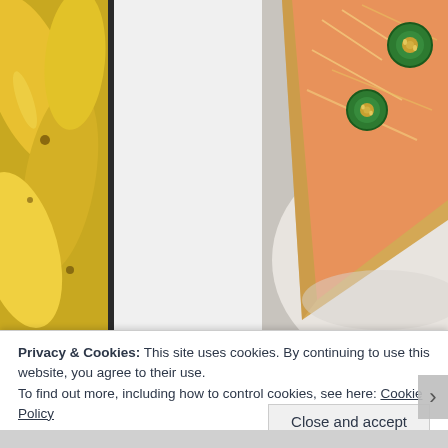[Figure (photo): Close-up photo of yellow bananas stacked together on the left side of the page]
[Figure (photo): Close-up photo of pizza with jalapeño slices and shredded cheese on a flatbread crust, on a white plate]
Privacy & Cookies: This site uses cookies. By continuing to use this website, you agree to their use.
To find out more, including how to control cookies, see here: Cookie Policy
Close and accept